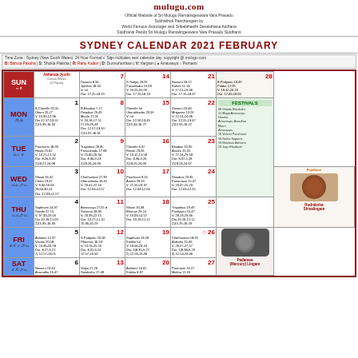mulugu.com - Official Website of Sri Mulugu Ramalingeswara Vara Prasadu Subhathidi Panchangam by World Famous Astrologer and Srikalahasthi Devasthana Asthana Siddhaniti Pandit Sri Mulugu Ramalingeswara Vara Prasadu Siddhanti
SYDNEY CALENDAR 2021 FEBRUARY
Time Zone : Sydney (New South Wales), 24 Hour Format'+' Sign indicates next calendar day. copyright @ mulugu.com B: Bahula Paksha | S: Shukla Paksha | R: Rahu Kalam | D: Durmuhurtham | V: Varjyam | Amavasya Purnami
| SUN | 7 | 14 | 21 | 28 |
| --- | --- | --- | --- | --- |
| MON | 1 | 8 | 15 | 22 | FESTIVALS |
| TUE | 2 | 9 | 16 | 23 |  |
| WED | 3 | 10 | 17 | 24 |  |
| THU | 4 | 11 | 18 | 25 |  |
| FRI | 5 | 12 | 19 | 26 |  |
| SAT | 6 | 13 | 20 | 27 |  |